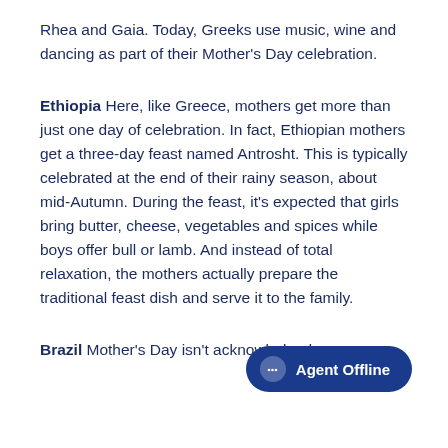Rhea and Gaia. Today, Greeks use music, wine and dancing as part of their Mother's Day celebration.
Ethiopia Here, like Greece, mothers get more than just one day of celebration. In fact, Ethiopian mothers get a three-day feast named Antrosht. This is typically celebrated at the end of their rainy season, about mid-Autumn. During the feast, it's expected that girls bring butter, cheese, vegetables and spices while boys offer bull or lamb. And instead of total relaxation, the mothers actually prepare the traditional feast dish and serve it to the family.
Brazil Mother's Day isn't acknowledged as an
[Figure (other): Agent Offline chat widget button in dark blue with rounded pill shape]